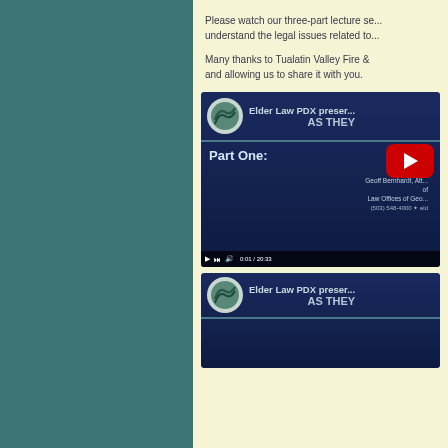Please watch our three-part lecture se... understand the legal issues related to...
Many thanks to Tualatin Valley Fire & ... and allowing us to share it with you.
[Figure (screenshot): YouTube video thumbnail showing Elder Law PDX presentation Part One, with presenter Geoff Bernhardt, Attorney of Law Offices of Geo..., phone (503) 548-4000, duration 20:33]
[Figure (screenshot): YouTube video thumbnail showing Elder Law PDX presentation, second part, partial view with AS THEY text visible]